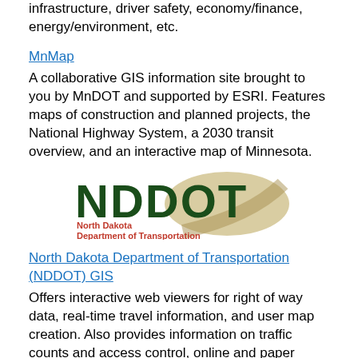infrastructure, driver safety, economy/finance, energy/environment, etc.
MnMap
A collaborative GIS information site brought to you by MnDOT and supported by ESRI. Features maps of construction and planned projects, the National Highway System, a 2030 transit overview, and an interactive map of Minnesota.
[Figure (logo): NDDOT North Dakota Department of Transportation logo with large dark green letters and a tan road graphic]
North Dakota Department of Transportation (NDDOT) GIS
Offers interactive web viewers for right of way data, real-time travel information, and user map creation. Also provides information on traffic counts and access control, online and paper maps, and external state GIS data hubs.